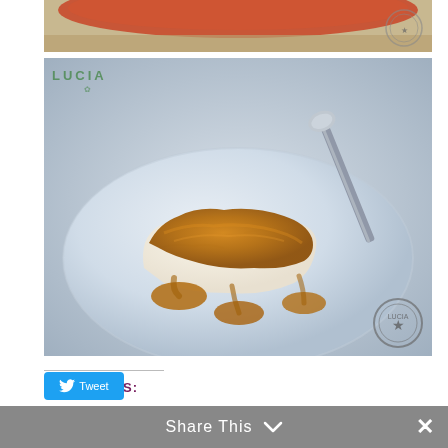[Figure (photo): Top partial photo of food/restaurant setting with reddish plate visible at top]
[Figure (photo): Close-up photo of a piece of white cheese or dessert with amber honey/caramel sauce drizzled over it, served on a light blue/white plate with a spoon. Restaurant watermark logo visible top-left. Circular stamp/seal visible bottom-right.]
SHARE THIS:
[Figure (screenshot): Share This bar with dropdown chevron and close X button, gray background, white text reading 'Share This']
[Figure (screenshot): Twitter/social share button at bottom left]